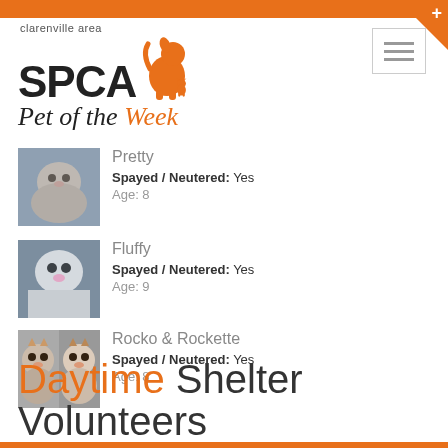[Figure (logo): Clarenville Area SPCA logo with dog/cat silhouette and 'Pet of the Week' text]
[Figure (photo): Photo of a cat named Pretty]
Pretty
Spayed / Neutered: Yes
Age: 8
[Figure (photo): Photo of a cat named Fluffy]
Fluffy
Spayed / Neutered: Yes
Age: 9
[Figure (photo): Two photos of dogs named Rocko & Rockette]
Rocko & Rockette
Spayed / Neutered: Yes
Age: 8
Daytime Shelter Volunteers